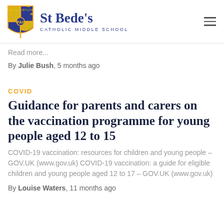St Bede's Catholic Middle School
Read more...
By Julie Bush, 5 months ago
COVID
Guidance for parents and carers on the vaccination programme for young people aged 12 to 15
COVID-19 vaccination: resources for children and young people – GOV.UK (www.gov.uk) COVID-19 vaccination: a guide for eligible children and young people aged 12 to 17 – GOV.UK (www.gov.uk)
By Louise Waters, 11 months ago